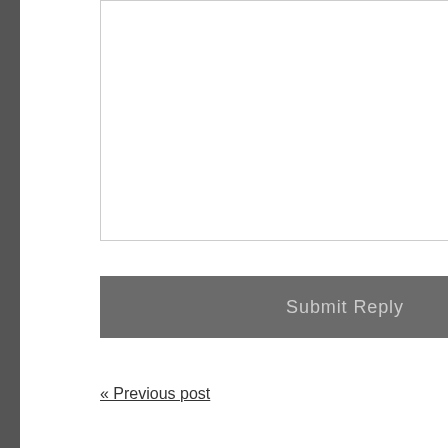[Figure (screenshot): Comment form text area input box, partially visible on the left side of the page]
Email (v
[Figure (screenshot): Email input text field, partially cut off on the right side]
Website
[Figure (screenshot): Website input text field with dashed border, partially cut off on the right side]
Submit Reply
« Previous post